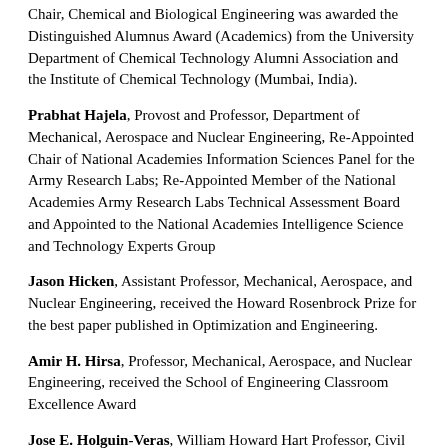Chair, Chemical and Biological Engineering was awarded the Distinguished Alumnus Award (Academics) from the University Department of Chemical Technology Alumni Association and the Institute of Chemical Technology (Mumbai, India).
Prabhat Hajela, Provost and Professor, Department of Mechanical, Aerospace and Nuclear Engineering, Re-Appointed Chair of National Academies Information Sciences Panel for the Army Research Labs; Re-Appointed Member of the National Academies Army Research Labs Technical Assessment Board and Appointed to the National Academies Intelligence Science and Technology Experts Group
Jason Hicken, Assistant Professor, Mechanical, Aerospace, and Nuclear Engineering, received the Howard Rosenbrock Prize for the best paper published in Optimization and Engineering.
Amir H. Hirsa, Professor, Mechanical, Aerospace, and Nuclear Engineering, received the School of Engineering Classroom Excellence Award
Jose E. Holguin-Veras, William Howard Hart Professor, Civil and Environmental Engineering, Director, Center for Infrastructure, Transportation, and the Environment was elected to the Academy